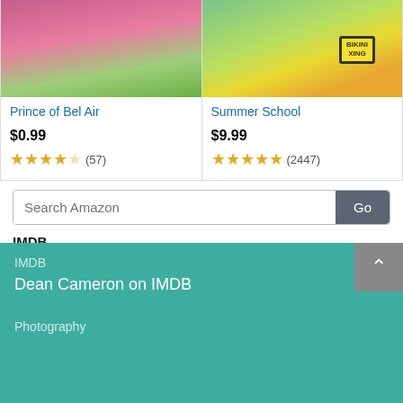[Figure (other): Product card image for Prince of Bel Air movie]
Prince of Bel Air
$0.99
★★★★☆ (57)
[Figure (other): Product card image for Summer School movie with Bikini Xing sign]
Summer School
$9.99
★★★★★ (2447)
Search Amazon
IMDB
Dean Cameron on IMDB
IMDB
Dean Cameron on IMDB
Photography